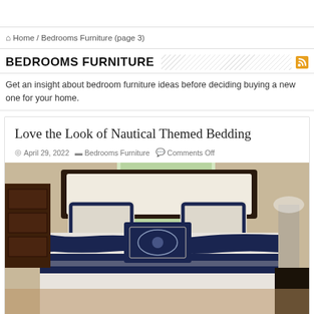Home / Bedrooms Furniture (page 3)
BEDROOMS FURNITURE
Get an insight about bedroom furniture ideas before deciding buying a new one for your home.
Love the Look of Nautical Themed Bedding
April 29, 2022   Bedrooms Furniture   Comments Off
[Figure (photo): A bed with nautical themed bedding featuring navy blue and white comforter set with decorative pillows in a bedroom setting]